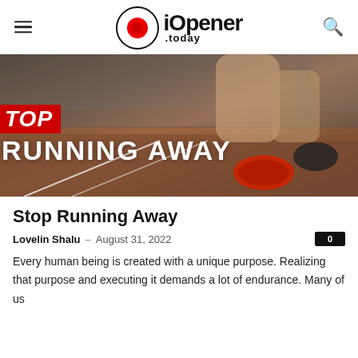iOpener .today
[Figure (photo): Runner's legs in athletic shoes on an indoor running track, with overlaid text 'STOP RUNNING AWAY' in bold white and red.]
Stop Running Away
Lovelin Shalu  –  August 31, 2022  0
Every human being is created with a unique purpose. Realizing that purpose and executing it demands a lot of endurance. Many of us